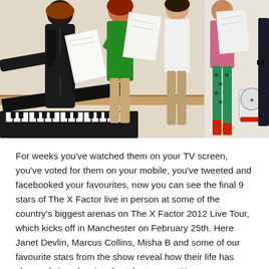[Figure (photo): A group of people, likely X Factor contestants, standing together in a rehearsal room reading papers/sheet music. A piano keyboard is visible in the lower left. People are wearing various colorful outfits including a black leather jacket, green top, white top, and teal patterned leggings. A red shoe and a bag with a logo are visible on the right.]
For weeks you've watched them on your TV screen, you've voted for them on your mobile, you've tweeted and facebooked your favourites, now you can see the final 9 stars of The X Factor live in person at some of the country's biggest arenas on The X Factor 2012 Live Tour, which kicks off in Manchester on February 25th. Here Janet Devlin, Marcus Collins, Misha B and some of our favourite stars from the show reveal how their life has changed since leaving the talent competition.